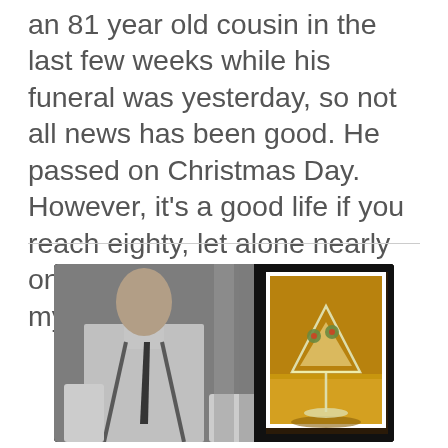an 81 year old cousin in the last few weeks while his funeral was yesterday, so not all news has been good. He passed on Christmas Day. However, it's a good life if you reach eighty, let alone nearly one hundred. Rest in Peace, my friends.
[Figure (photo): Composite image: left side is a black and white photo of a man in a white shirt and dark tie, right side shows a color photo of a martini glass with olives on a bar surface]